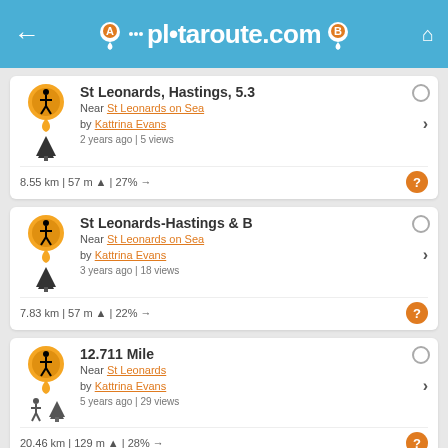plotaroute.com
St Leonards, Hastings, 5.3 | Near St Leonards on Sea | by Kattrina Evans | 2 years ago | 5 views | 8.55 km | 57 m | 27%
St Leonards-Hastings & B | Near St Leonards on Sea | by Kattrina Evans | 3 years ago | 18 views | 7.83 km | 57 m | 22%
12.711 Mile | Near St Leonards | by Kattrina Evans | 5 years ago | 29 views | 20.46 km | 129 m | 28%
FIND MORE NEARBY ROUTES